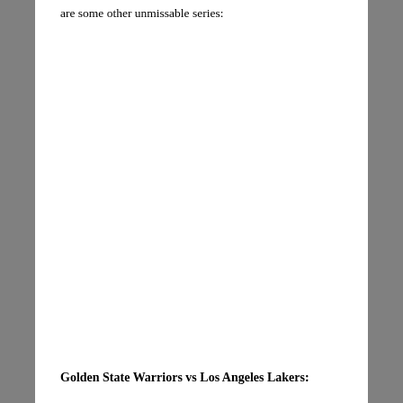are some other unmissable series:
Golden State Warriors vs Los Angeles Lakers: